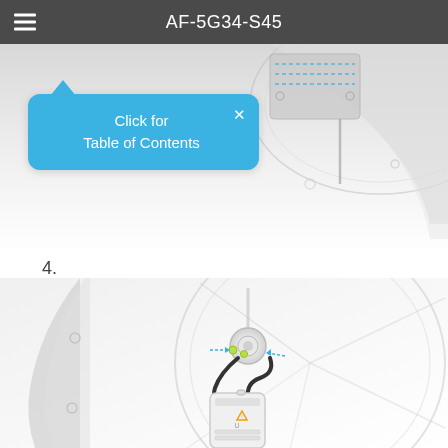AF-5G34-S45
[Figure (photo): Top portion showing antenna dish back panel with dotted alignment lines and cable routing on a grey/white background, with a blue tooltip bubble overlaying it saying 'Click for Table of Contents']
Click for
Table of Contents
4.
[Figure (photo): Installation diagram step 4 showing the antenna feed assembly with a black cable drip loop connected to the radio unit, with blue dotted arrow indicators pointing to connection points, mounted on the dish frame]